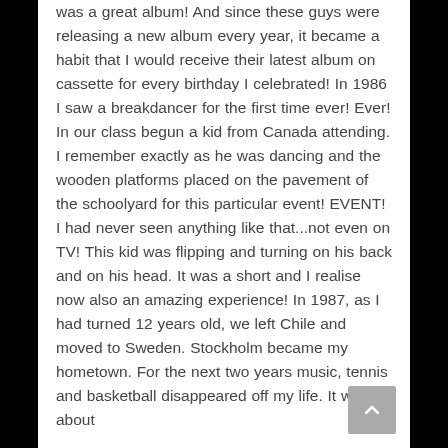was a great album! And since these guys were releasing a new album every year, it became a habit that I would receive their latest album on cassette for every birthday I celebrated! In 1986 I saw a breakdancer for the first time ever! Ever! In our class begun a kid from Canada attending. I remember exactly as he was dancing and the wooden platforms placed on the pavement of the schoolyard for this particular event! EVENT! I had never seen anything like that...not even on TV! This kid was flipping and turning on his back and on his head. It was a short and I realise now also an amazing experience! In 1987, as I had turned 12 years old, we left Chile and moved to Sweden. Stockholm became my hometown. For the next two years music, tennis and basketball disappeared off my life. It was all about